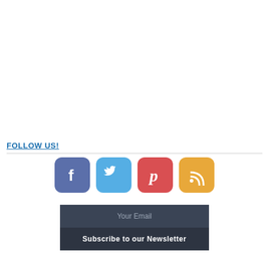FOLLOW US!
[Figure (illustration): Four social media icon buttons: Facebook (blue-purple rounded square with 'f'), Twitter (light blue rounded square with bird), Pinterest (red rounded square with 'P'), RSS (orange rounded square with wifi/RSS symbol)]
Your Email
Subscribe to our Newsletter